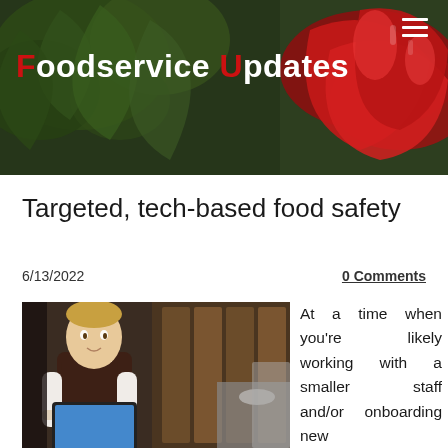Foodservice Updates
Targeted, tech-based food safety
6/13/2022
0 Comments
[Figure (photo): A restaurant worker in a dark apron looking at a tablet in a professional kitchen setting]
At a time when you're likely working with a smaller staff and/or onboarding new